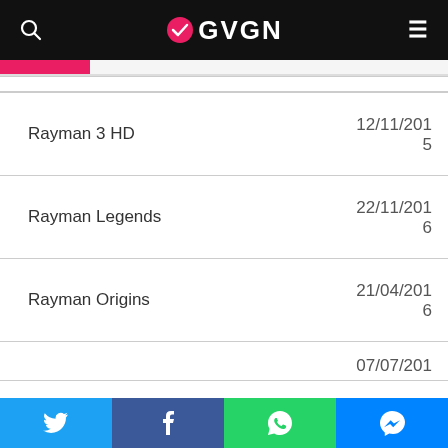OVEN (GVGN) - website header with logo, search icon, and menu icon
| Game | Date |
| --- | --- |
| Rayman 3 HD | 12/11/2015 |
| Rayman Legends | 22/11/2016 |
| Rayman Origins | 21/04/2016 |
|  | 07/07/201... |
Social share bar: Twitter, Facebook, WhatsApp, Messenger